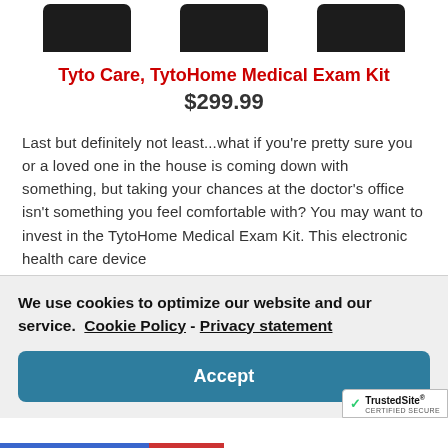[Figure (photo): Three product images showing black cylindrical medical exam kit components, cropped at top]
Tyto Care, TytoHome Medical Exam Kit
$299.99
Last but definitely not least...what if you're pretty sure you or a loved one in the house is coming down with something, but taking your chances at the doctor's office isn't something you feel comfortable with? You may want to invest in the TytoHome Medical Exam Kit. This electronic health care device
We use cookies to optimize our website and our service.  Cookie Policy - Privacy statement
Accept
[Figure (logo): TrustedSite CERTIFIED SECURE badge in bottom right corner]